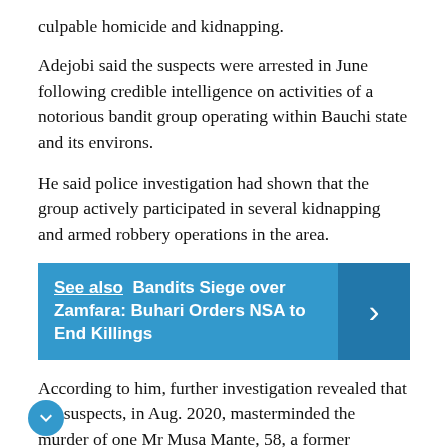culpable homicide and kidnapping.
Adejobi said the suspects were arrested in June following credible intelligence on activities of a notorious bandit group operating within Bauchi state and its environs.
He said police investigation had shown that the group actively participated in several kidnapping and armed robbery operations in the area.
[Figure (other): See also callout box with link: Bandits Siege over Zamfara: Buhari Orders NSA to End Killings, with a right arrow button on the right side.]
According to him, further investigation revealed that the suspects, in Aug. 2020, masterminded the murder of one Mr Musa Mante, 58, a former member of Bauchi State House of Assembly.